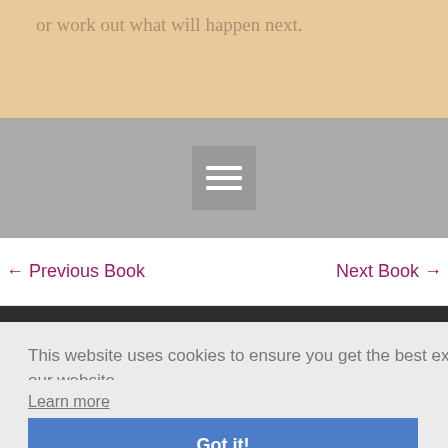or work out what will happen next.
[Figure (screenshot): Hamburger menu button (three horizontal white lines) on a gray background navigation bar]
← Previous Book
Next Book →
astra
ntre, 6
1 403
This website uses cookies to ensure you get the best experience on our website.
Learn more
Got it!